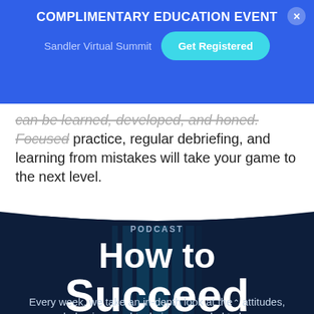COMPLIMENTARY EDUCATION EVENT — Sandler Virtual Summit — Get Registered
can be learned, developed, and honed. Focused practice, regular debriefing, and learning from mistakes will take your game to the next level.
PODCAST
How to Succeed
Every week, we take an in-depth look at the attitudes, behaviors, and techniques needed to be